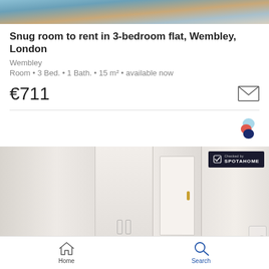[Figure (photo): Top portion of a bedroom photo showing bed with pillows and blue carpet floor]
Snug room to rent in 3-bedroom flat, Wembley, London
Wembley
Room • 3 Bed. • 1 Bath. • 15 m² • available now
€711
[Figure (logo): Spotahome logo - colorful S shaped icon]
[Figure (photo): Interior room photos showing white walls, wardrobe doors with handles, a door with gold handle, and bathroom with bathtub. Checked by SPOTAHOME badge in top right corner.]
Home   Search